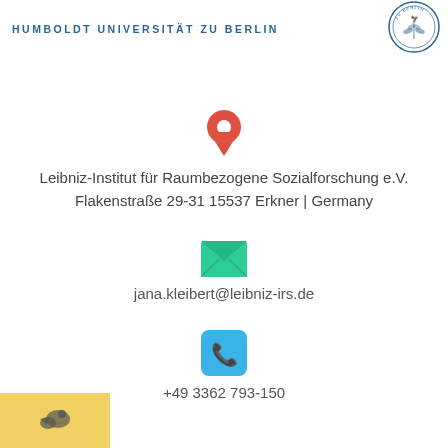HUMBOLDT UNIVERSITÄT ZU BERLIN
[Figure (logo): Humboldt Universität zu Berlin circular seal/logo in blue]
[Figure (illustration): Red map pin / location icon]
Leibniz-Institut für Raumbezogene Sozialforschung e.V. Flakenstraße 29-31 15537 Erkner | Germany
[Figure (illustration): Green envelope / email icon]
jana.kleibert@leibniz-irs.de
[Figure (illustration): Blue rounded square with white phone/telephone icon]
+49 3362 793-150
[Figure (illustration): Yellow/gold Twitter bird icon button at bottom left]